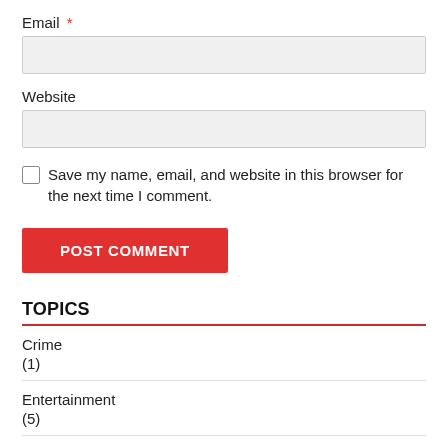Email *
Website
Save my name, email, and website in this browser for the next time I comment.
POST COMMENT
TOPICS
Crime (1)
Entertainment (5)
Finance (156)